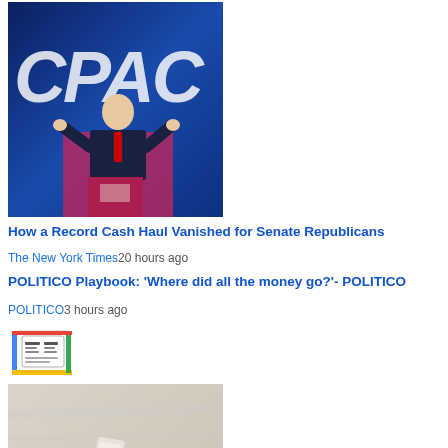[Figure (photo): A man in a dark suit speaking at a podium at a CPAC conference, blue background with CPAC logo]
How a Record Cash Haul Vanished for Senate Republicans
The New York Times20 hours ago
POLITICO Playbook: 'Where did all the money go?'- POLITICO
POLITICO3 hours ago
[Figure (logo): Google News icon/logo]
[Figure (photo): A hand holding a COVID-19 rapid at-home test kit]
Here's how to get free at-home Covid tests after the federal government
CNBCYesterday
Free COVID tests to end on September 2